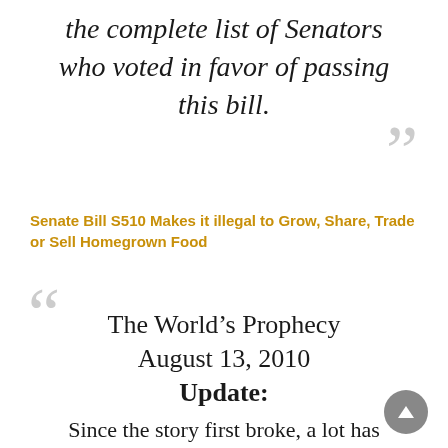the complete list of Senators who voted in favor of passing this bill.
Senate Bill S510 Makes it illegal to Grow, Share, Trade or Sell Homegrown Food
The World's Prophecy
August 13, 2010
Update:
Since the story first broke, a lot has happened. One reason for this could be that food is being poisoned. Collecting rainwater is